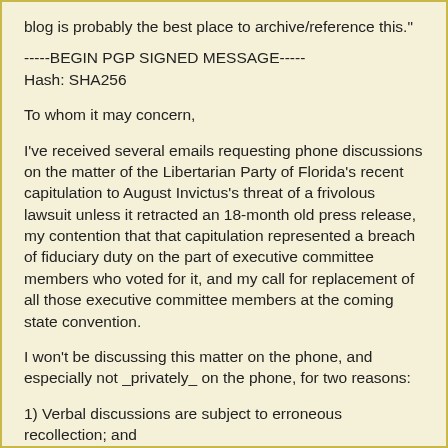blog is probably the best place to archive/reference this."
-----BEGIN PGP SIGNED MESSAGE-----
Hash: SHA256
To whom it may concern,
I've received several emails requesting phone discussions on the matter of the Libertarian Party of Florida's recent capitulation to August Invictus's threat of a frivolous lawsuit unless it retracted an 18-month old press release, my contention that that capitulation represented a breach of fiduciary duty on the part of executive committee members who voted for it, and my call for replacement of all those executive committee members at the coming state convention.
I won't be discussing this matter on the phone, and especially not _privately_ on the phone, for two reasons:
1) Verbal discussions are subject to erroneous recollection; and